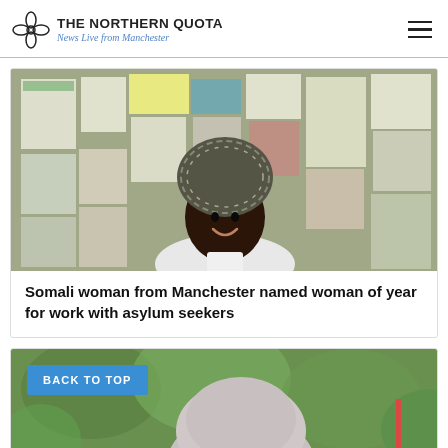THE NORTHERN QUOTA — News Live from Manchester
[Figure (photo): Photo of a smiling Somali woman wearing a patterned headwrap, standing in front of a bulletin board covered with notices and papers]
Somali woman from Manchester named woman of year for work with asylum seekers
[Figure (photo): Partial photo of a person wearing a light grey hijab outdoors among green foliage, with a 'BACK TO TOP' button overlay]